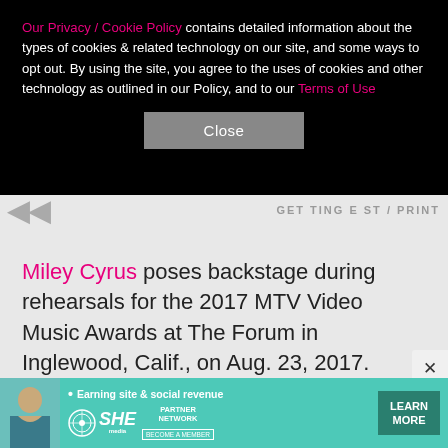Our Privacy / Cookie Policy contains detailed information about the types of cookies & related technology on our site, and some ways to opt out. By using the site, you agree to the uses of cookies and other technology as outlined in our Policy, and to our Terms of Use
Close
Miley Cyrus poses backstage during rehearsals for the 2017 MTV Video Music Awards at The Forum in Inglewood, Calif., on Aug. 23, 2017.
[Figure (infographic): Advertisement banner for SHE Media Partner Network. Features a woman photo, text '• Earning site & social revenue', SHE Media logo, and a 'LEARN MORE' button.]